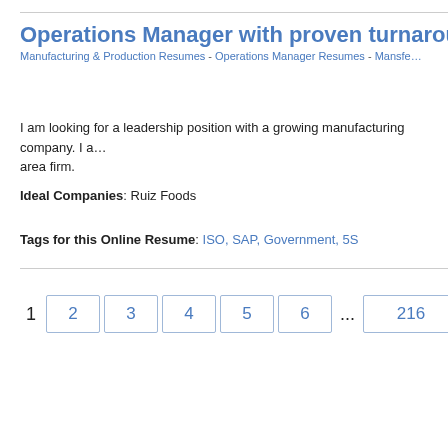Operations Manager with proven turnaround resul…
Manufacturing & Production Resumes - Operations Manager Resumes - Mansfe…
I am looking for a leadership position with a growing manufacturing company. I a… area firm.
Ideal Companies: Ruiz Foods
Tags for this Online Resume: ISO, SAP, Government, 5S
1  2  3  4  5  6  ...  216  Next >>